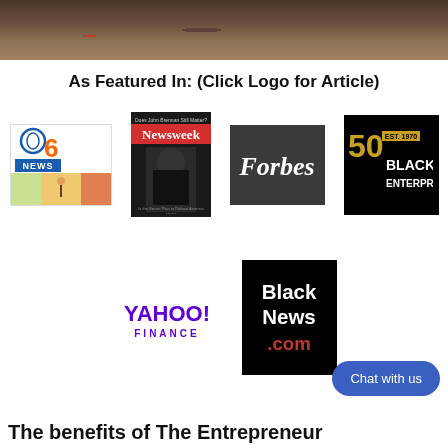[Figure (photo): Top photo showing hands/desk scene with dark brownish tones]
As Featured In: (Click Logo for Article)
[Figure (logo): ABC 6 News logo with colorful background]
[Figure (logo): Newsweek magazine cover with dark figure]
[Figure (logo): Forbes logo on dark grey background]
[Figure (logo): Black Enterprise 50 year anniversary logo on black background]
[Figure (logo): Yahoo Finance logo in purple]
[Figure (logo): BlackNews.com logo on black background]
Chat with us
The benefits of The Entrepreneur